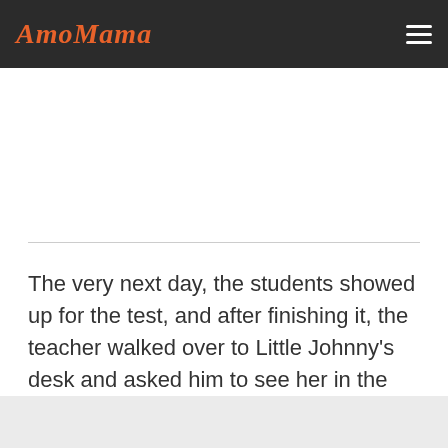AmoMama
The very next day, the students showed up for the test, and after finishing it, the teacher walked over to Little Johnny's desk and asked him to see her in the office after class.